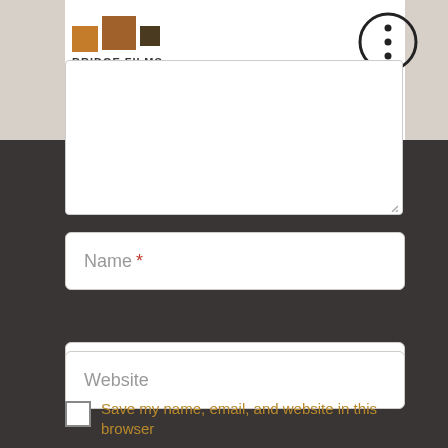[Figure (logo): Bridge Films documentary logo with three colored squares (orange, brown, dark) and text 'BRIDGE FILMS' with subtitle 'a documentary']
[Figure (other): Three vertical dots menu button (kebab menu) in a circle, top right corner]
[Figure (other): White textarea input box, partially visible, with resize handle at bottom right]
Name *
Email *
Website
Save my name, email, and website in this browser